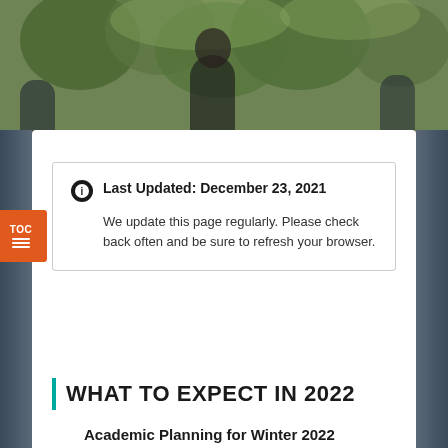[Figure (photo): Outdoor photo background showing trees and students]
Last Updated: December 23, 2021

We update this page regularly. Please check back often and be sure to refresh your browser.
WHAT TO EXPECT IN 2022
Academic Planning for Winter 2022
We have decided to delay the start of the winter semester by one week and begin the Winter semester with online delivery for 2 weeks. For students, the Winter semester will now begin on Monday, January 17 and the weeks of January 17